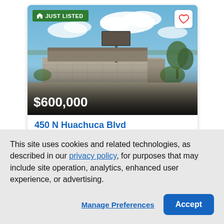[Figure (photo): Exterior photo of a commercial property at 450 N Huachuca Blvd. Shows a concrete block wall/fence along a paved driveway, a billboard sign, and a low building in the background under a partly cloudy blue sky. Price overlay shows $600,000. 'JUST LISTED' badge in green at top left.]
450 N Huachuca Blvd
Huachuca City, AZ 85616
Office | Active
This site uses cookies and related technologies, as described in our privacy policy, for purposes that may include site operation, analytics, enhanced user experience, or advertising.
Manage Preferences
Accept